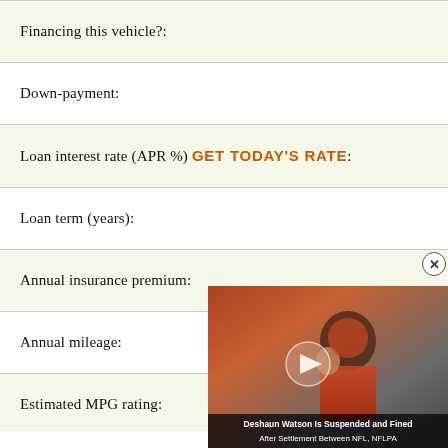Financing this vehicle?:
Down-payment:
Loan interest rate (APR %) GET TODAY'S RATE:
Loan term (years):
Annual insurance premium:
Annual mileage:
Estimated MPG rating:
[Figure (photo): Video overlay showing a football player (Deshaun Watson) with caption: 'Deshaun Watson Is Suspended and Fined After Settlement Between NFL, NFLPA']